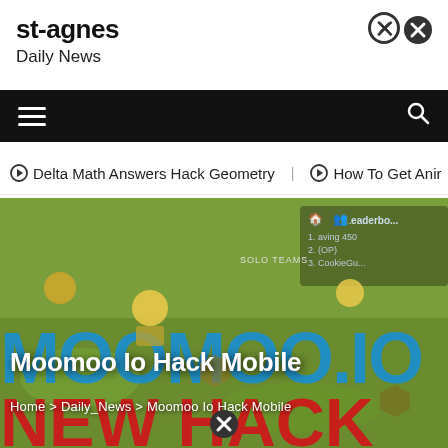st-agnes
Daily News
[Figure (screenshot): Website navigation bar with hamburger menu icon on left and search icon on right, black background]
⊙ Delta Math Answers Hack Geometry   ⊙ How To Get Anir
[Figure (screenshot): Game screenshot of Moomoo.io with colorful characters and leaderboard visible, overlaid with title 'Moomoo Io Hack Mobile' and breadcrumb 'Home > Daily_News > Moomoo Io Hack Mobile']
Moomoo Io Hack Mobile
Home > Daily_News > Moomoo Io Hack Mobile